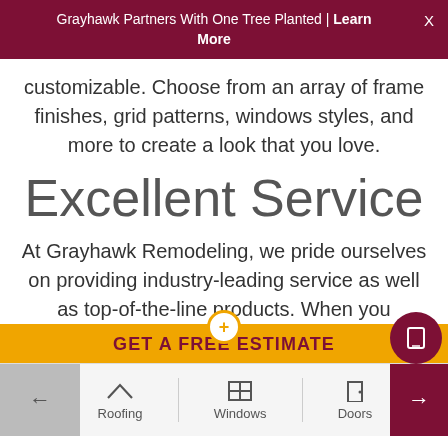Grayhawk Partners With One Tree Planted | Learn More  X
customizable. Choose from an array of frame finishes, grid patterns, windows styles, and more to create a look that you love.
Excellent Service
At Grayhawk Remodeling, we pride ourselves on providing industry-leading service as well as top-of-the-line products. When you
GET A FREE ESTIMATE
Roofing  Windows  Doors